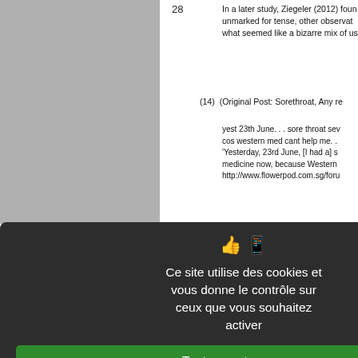28
In a later study, Ziegeler (2012) found that when verbs are unmarked for tense, other observations were also made, including what seemed like a bizarre mix of usages.
(14) (Original Post: Sorethroat, Any re
yest 23th June. . . sore throat sev cos western med cant help me. . . 'Yesterday, 23rd June, [I had a] s medicine now, because Western http://www.flowerpod.com.sg/foru
(15) … they graduated next year [talk
(16) Prunes good enough la. I just ate
'Prunes are good enough. I just e http://www.flowerpod.com.sg/foru
(17) Have forwarded your message to in the clinic. Have a blessed day.
Some cases involved the use of pas referred:
(18) That lemon tree was in the groun (Ziegeler 1995)
[Figure (screenshot): Cookie consent overlay with dark background. Shows icons for thumbs up and phone. Text reads: 'Ce site utilise des cookies et vous donne le contrôle sur ceux que vous souhaitez activer'. Three buttons: green 'Tout accepter', dark red 'Tout refuser', white 'Personnaliser'. Link: 'Politique de confidentialité'.]